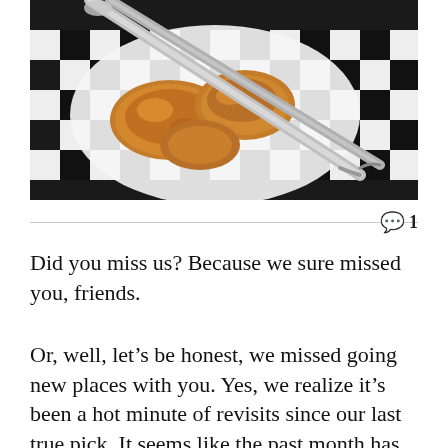[Figure (photo): Overhead view of fried chicken pieces on black and white checkered paper liner on a plate, with metal tongs resting diagonally across the food.]
💬 1
Did you miss us? Because we sure missed you, friends.
Or, well, let's be honest, we missed going new places with you. Yes, we realize it's been a hot minute of revisits since our last true pick. It seems like the past month has been a game of